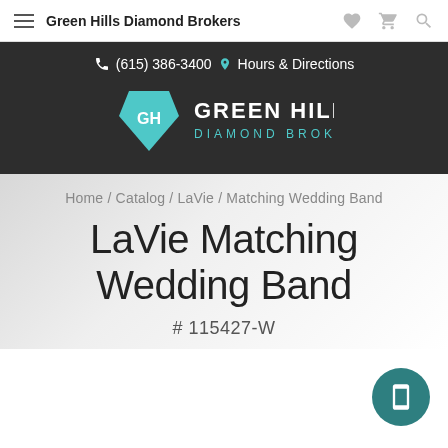Green Hills Diamond Brokers
[Figure (logo): Green Hills Diamond Brokers logo with teal diamond GH icon and white text on dark background, plus phone (615) 386-3400 and Hours & Directions]
Home / Catalog / LaVie / Matching Wedding Band
LaVie Matching Wedding Band
# 115427-W